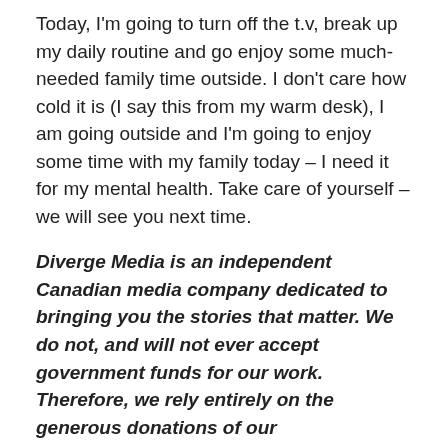Today, I'm going to turn off the t.v, break up my daily routine and go enjoy some much-needed family time outside. I don't care how cold it is (I say this from my warm desk), I am going outside and I'm going to enjoy some time with my family today – I need it for my mental health. Take care of yourself – we will see you next time.
Diverge Media is an independent Canadian media company dedicated to bringing you the stories that matter. We do not, and will not ever accept government funds for our work. Therefore, we rely entirely on the generous donations of our readers/viewers to help us to continue to bring Canadians and others all around the world the stories that matter. If you want to support our work you can do so by buying a hat at our store – or by donating in the form below. All the best